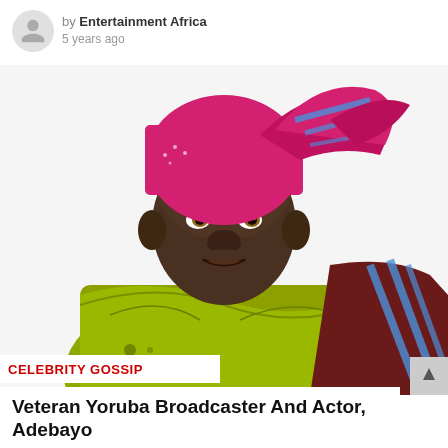by Entertainment Africa
5 years ago
[Figure (photo): An elderly Yoruba man wearing a bright red/pink head wrap and yellow-green traditional Yoruba agbada garment, seated and looking slightly to the left, smiling. Label bar reads 'CELEBRITY GOSSIP' in red.]
Veteran Yoruba Broadcaster And Actor, Adebayo